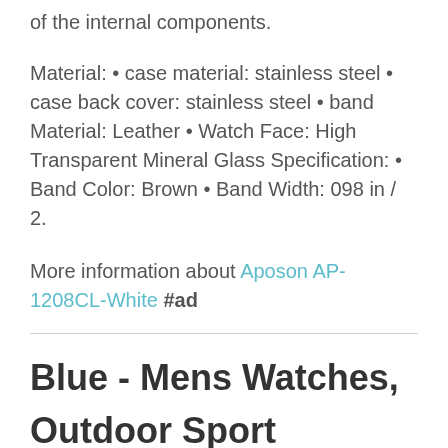of the internal components.
Material: • case material: stainless steel • case back cover: stainless steel • band Material: Leather • Watch Face: High Transparent Mineral Glass Specification: • Band Color: Brown • Band Width: 098 in / 2.
More information about Aposon AP-1208CL-White #ad
Blue - Mens Watches,
Outdoor Sport Watches for
men Military Waterproof